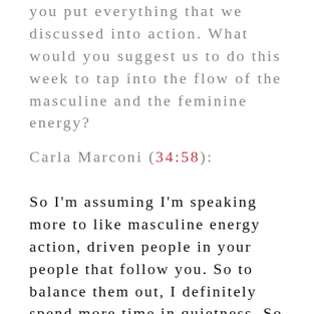you put everything that we discussed into action. What would you suggest us to do this week to tap into the flow of the masculine and the feminine energy?
Carla Marconi (34:58):
So I'm assuming I'm speaking more to like masculine energy action, driven people in your people that follow you. So to balance them out, I definitely spend more time in quietness. So create a morning ritual or an evening ritual. I like morning because it really starts you off very grounded. I encourage you to